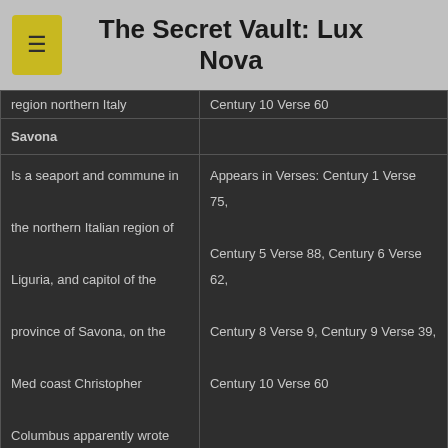The Secret Vault: Lux Nova
| Location | References |
| --- | --- |
| region northern Italy | Century 10 Verse 60 |
| Savona |  |
| Is a seaport and commune in the northern Italian region of Liguria, and capitol of the province of Savona, on the Med coast Christopher Columbus apparently wrote his reports of his journey's there | Appears in Verses: Century 1 Verse 75, Century 5 Verse 88, Century 6 Verse 62, Century 8 Verse 9, Century 9 Verse 39, Century 10 Verse 60 |
Malta